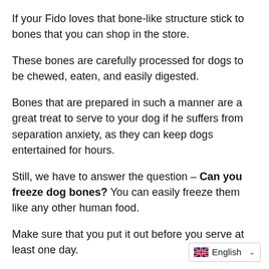If your Fido loves that bone-like structure stick to bones that you can shop in the store.
These bones are carefully processed for dogs to be chewed, eaten, and easily digested.
Bones that are prepared in such a manner are a great treat to serve to your dog if he suffers from separation anxiety, as they can keep dogs entertained for hours.
Still, we have to answer the question – Can you freeze dog bones? You can easily freeze them like any other human food.
Make sure that you put it out before you serve at least one day.